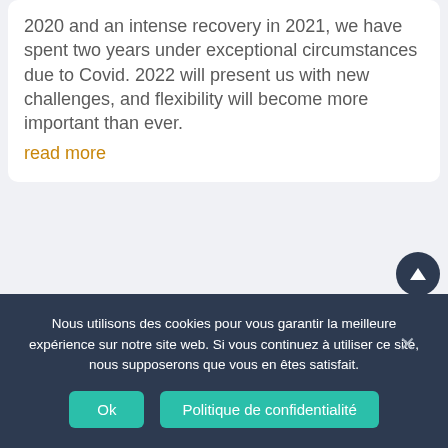2020 and an intense recovery in 2021, we have spent two years under exceptional circumstances due to Covid. 2022 will present us with new challenges, and flexibility will become more important than ever.
read more
[Figure (other): Scroll-to-top button: dark navy circular button with upward-pointing triangle/arrow icon]
Nous utilisons des cookies pour vous garantir la meilleure expérience sur notre site web. Si vous continuez à utiliser ce site, nous supposerons que vous en êtes satisfait.
Ok
Politique de confidentialité